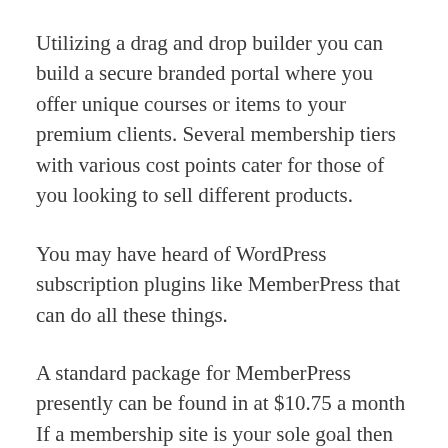Utilizing a drag and drop builder you can build a secure branded portal where you offer unique courses or items to your premium clients. Several membership tiers with various cost points cater for those of you looking to sell different products.
You may have heard of WordPress subscription plugins like MemberPress that can do all these things.
A standard package for MemberPress presently can be found in at $10.75 a month If a membership site is your sole goal then this could be a better alternative but if you planning to promote it through email marketing and funneling then an all in one plan like Kartra will